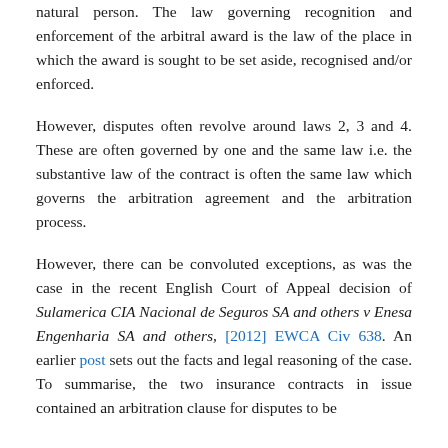natural person. The law governing recognition and enforcement of the arbitral award is the law of the place in which the award is sought to be set aside, recognised and/or enforced.
However, disputes often revolve around laws 2, 3 and 4. These are often governed by one and the same law i.e. the substantive law of the contract is often the same law which governs the arbitration agreement and the arbitration process.
However, there can be convoluted exceptions, as was the case in the recent English Court of Appeal decision of Sulamerica CIA Nacional de Seguros SA and others v Enesa Engenharia SA and others, [2012] EWCA Civ 638. An earlier post sets out the facts and legal reasoning of the case. To summarise, the two insurance contracts in issue contained an arbitration clause for disputes to be